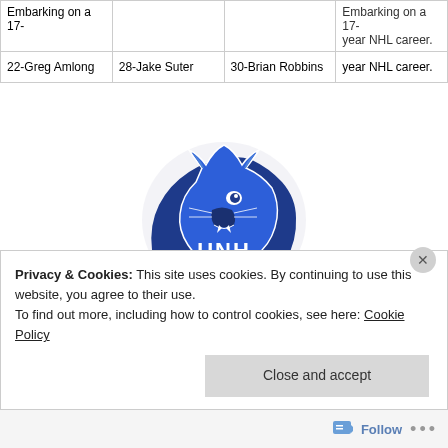| 22-Greg Amlong | 28-Jake Suter | 30-Brian Robbins | Embarking on a 17-year NHL career. |
[Figure (logo): UNH Wildcats logo — blue wildcat head above text 'UNH WILDCATS' in blue and white]
Privacy & Cookies: This site uses cookies. By continuing to use this website, you agree to their use. To find out more, including how to control cookies, see here: Cookie Policy
Close and accept
Follow ...